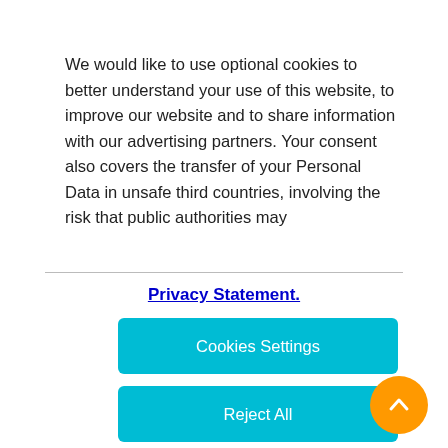We would like to use optional cookies to better understand your use of this website, to improve our website and to share information with our advertising partners. Your consent also covers the transfer of your Personal Data in unsafe third countries, involving the risk that public authorities may
Privacy Statement.
Cookies Settings
Reject All
Accept All Cookies